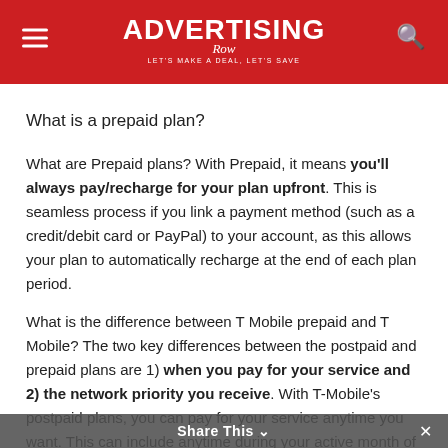ADVERTISING Row — let's make a deal, let's save
What is a prepaid plan?
What are Prepaid plans? With Prepaid, it means you'll always pay/recharge for your plan upfront. This is seamless process if you link a payment method (such as a credit/debit card or PayPal) to your account, as this allows your plan to automatically recharge at the end of each plan period.
What is the difference between T Mobile prepaid and T Mobile? The two key differences between the postpaid and prepaid plans are 1) when you pay for your service and 2) the network priority you receive. With T-Mobile's postpaid plans, you can pay for your service anytime you want. This can include anytime during your active month of service, or even
Share This